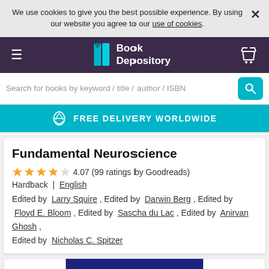We use cookies to give you the best possible experience. By using our website you agree to our use of cookies.
Book Depository
Search for books by keyword / title / author / ISBN
FREE DELIVERY WORLDWIDE
Fundamental Neuroscience
4.07 (99 ratings by Goodreads)
Hardback  |  English
Edited by Larry Squire , Edited by Darwin Berg , Edited by Floyd E. Bloom , Edited by Sascha du Lac , Edited by Anirvan Ghosh , Edited by Nicholas C. Spitzer
[Figure (photo): Book cover of Fundamental Neuroscience with dark blue background and gold italic title text]